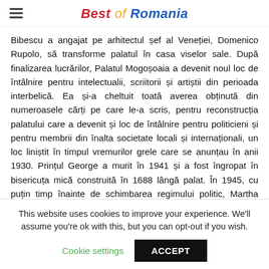Best of Romania
Bibescu a angajat pe arhitectul șef al Veneției, Domenico Rupolo, să transforme palatul în casa viselor sale. După finalizarea lucrărilor, Palatul Mogoșoaia a devenit noul loc de întâlnire pentru intelectualii, scriitorii și artiștii din perioada interbelică. Ea și-a cheltuit toată averea obținută din numeroasele cărți pe care le-a scris, pentru reconstrucția palatului care a devenit și loc de întâlnire pentru politicieni și pentru membrii din înalta societate locali și internaționali, un loc liniștit în timpul vremurilor grele care se anunțau în anii 1930. Prințul George a murit în 1941 și a fost îngropat în bisericuța mică construită în 1688 lângă palat. În 1945, cu puțin timp înainte de schimbarea regimului politic, Martha Bibescu donează statului român tot domeniul de la Mogoșoaia,
This website uses cookies to improve your experience. We'll assume you're ok with this, but you can opt-out if you wish.
Cookie settings   ACCEPT